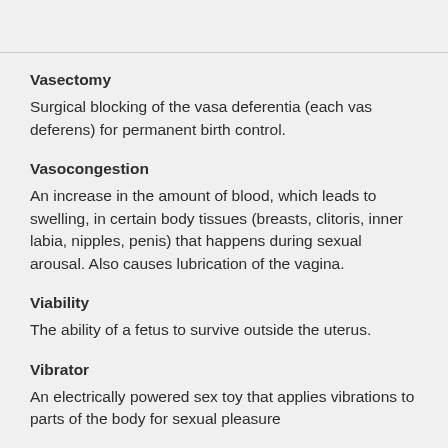Vasectomy
Surgical blocking of the vasa deferentia (each vas deferens) for permanent birth control.
Vasocongestion
An increase in the amount of blood, which leads to swelling, in certain body tissues (breasts, clitoris, inner labia, nipples, penis) that happens during sexual arousal. Also causes lubrication of the vagina.
Viability
The ability of a fetus to survive outside the uterus.
Vibrator
An electrically powered sex toy that applies vibrations to parts of the body for sexual pleasure